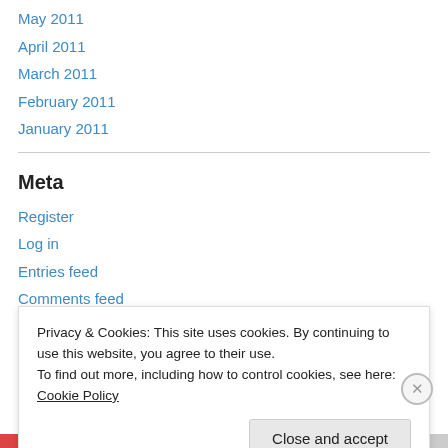May 2011
April 2011
March 2011
February 2011
January 2011
Meta
Register
Log in
Entries feed
Comments feed
WordPress.com
Privacy & Cookies: This site uses cookies. By continuing to use this website, you agree to their use. To find out more, including how to control cookies, see here: Cookie Policy
Close and accept